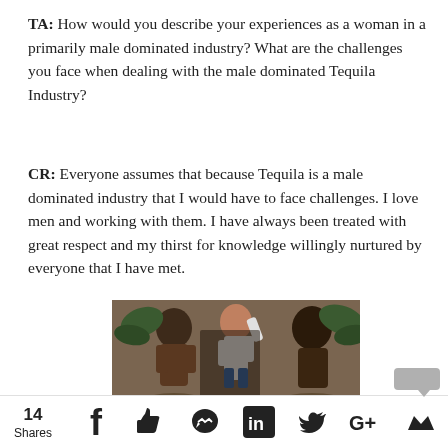TA: How would you describe your experiences as a woman in a primarily male dominated industry? What are the challenges you face when dealing with the male dominated Tequila Industry?
CR: Everyone assumes that because Tequila is a male dominated industry that I would have to face challenges. I love men and working with them. I have always been treated with great respect and my thirst for knowledge willingly nurtured by everyone that I have met.
[Figure (photo): A photograph of people working, appearing to be in an outdoor/industrial setting related to tequila production.]